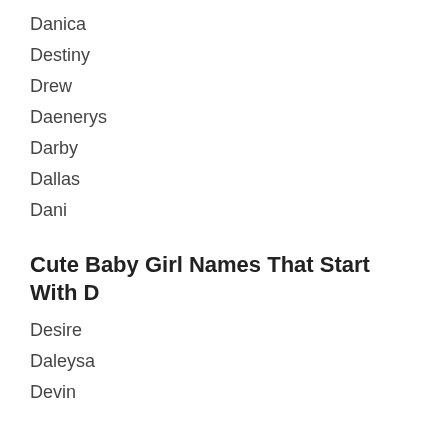Danica
Destiny
Drew
Daenerys
Darby
Dallas
Dani
Cute Baby Girl Names That Start With D
Desire
Daleysa
Devin